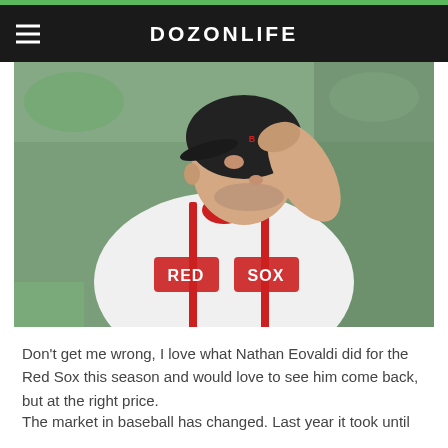DOZONLIFE
[Figure (photo): A baseball player wearing a Boston Red Sox white uniform and dark cap, touching the brim of his cap with his right hand. Identified as Nathan Eovaldi.]
Don't get me wrong, I love what Nathan Eovaldi did for the Red Sox this season and would love to see him come back, but at the right price.
The market in baseball has changed. Last year it took until